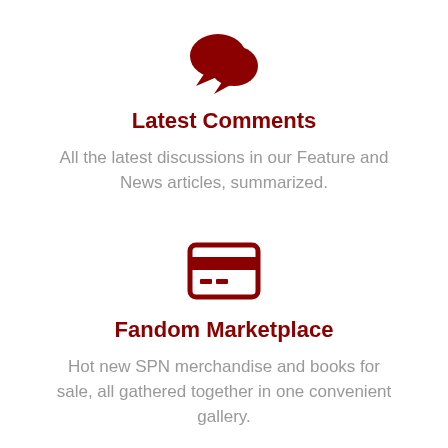[Figure (illustration): Red speech bubble icon (two overlapping chat bubbles) centered near top of page]
Latest Comments
All the latest discussions in our Feature and News articles, summarized.
[Figure (illustration): Red credit card icon centered in the middle of the page]
Fandom Marketplace
Hot new SPN merchandise and books for sale, all gathered together in one convenient gallery.